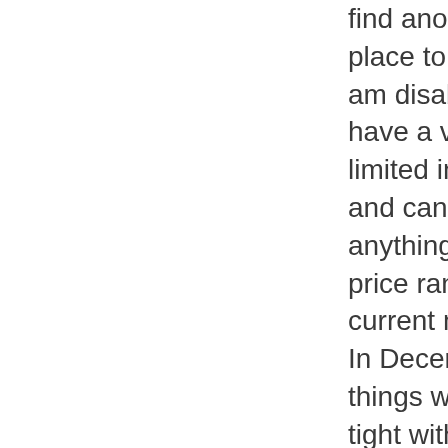find another place to live but I am disabled and have a very limited income and can not find anything in our price range at the current moment. In December, things were really tight with the Holidays and all and I had to go to thee Trustees office for rental